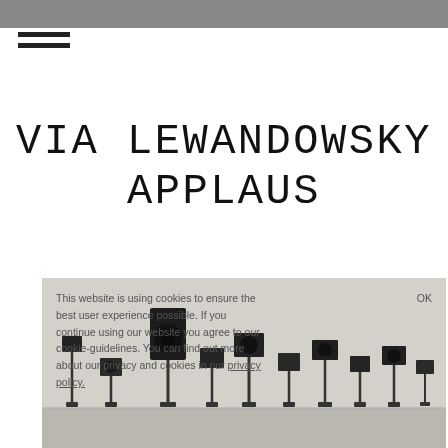VIA LEWANDOWSKY
APPLAUS
[Figure (photo): Installation photograph showing many black loudspeakers on tall stands arranged across a white gallery room, with a cookie consent overlay on top reading: This website is using cookies to ensure the best user experience possible. If you continue using our website you agree to our cookie-guidelines. You can find out more about our privacy and cookies in our privacy policy.]
This website is using cookies to ensure the best user experience possible. If you continue using our website you agree to our cookie-guidelines. You can find out more about our privacy and cookies in our privacy policy.